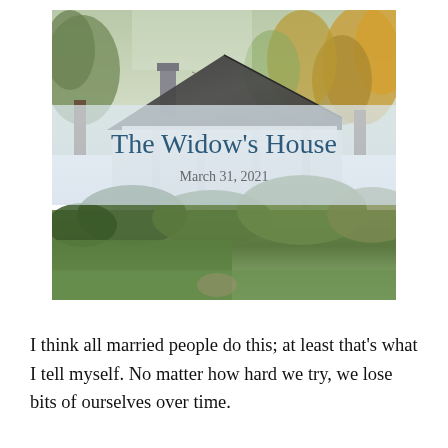[Figure (photo): Photograph of a white house with a dark shingled roof, surrounded by trees with autumn foliage, green lawn and overgrown shrubs in the foreground. Overlaid with a semi-transparent banner showing the title 'The Widow's House' and date 'March 31, 2021'.]
The Widow's House
March 31, 2021
I think all married people do this; at least that's what I tell myself. No matter how hard we try, we lose bits of ourselves over time.